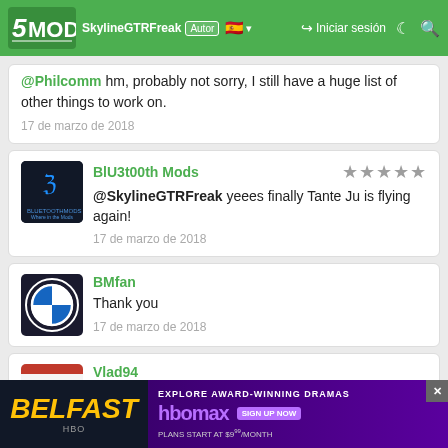5MODS - SkylineGTRFreak Author - Iniciar sesión
@Philcomm hm, probably not sorry, I still have a huge list of other things to work on.
17 de marzo de 2018
BlU3t00th Mods
@SkylineGTRFreak yeees finally Tante Ju is flying again!
17 de marzo de 2018
BMfan
Thank you
17 de marzo de 2018
Vlad94
Hey SkylineGTRFreak, are you planning on updating any WWII planes? I modified the handling file to use ...g, but ...y
[Figure (screenshot): Belfast HBO Max advertisement banner at the bottom of the page]